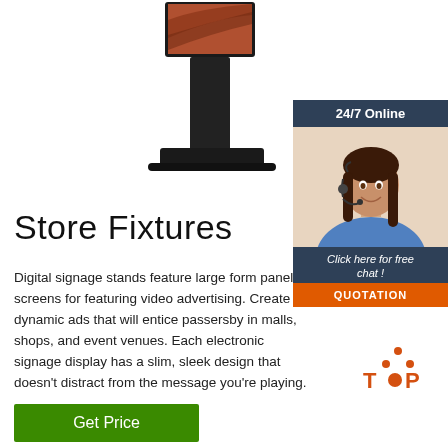[Figure (illustration): Digital signage kiosk stand with a slim black frame and a display screen showing a red/brown image at the top]
[Figure (illustration): 24/7 Online customer service chat widget showing a woman wearing a headset, with 'Click here for free chat!' text and QUOTATION button]
Store Fixtures
Digital signage stands feature large form panel screens for featuring video advertising. Create dynamic ads that will entice passersby in malls, shops, and event venues. Each electronic signage display has a slim, sleek design that doesn't distract from the message you're playing.
[Figure (logo): TOP logo with orange arrow triangles above the text]
Get Price